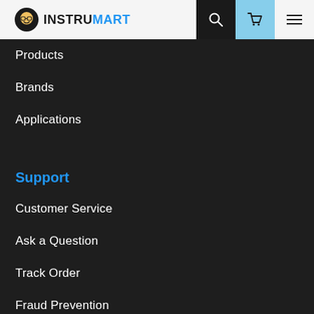INSTRUMART
Products
Brands
Applications
Support
Customer Service
Ask a Question
Track Order
Fraud Prevention
Financing
Our Company